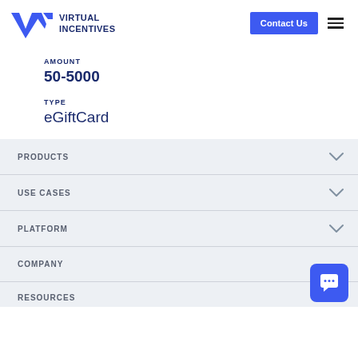Virtual Incentives — Contact Us
AMOUNT
50-5000
TYPE
eGiftCard
PRODUCTS
USE CASES
PLATFORM
COMPANY
RESOURCES